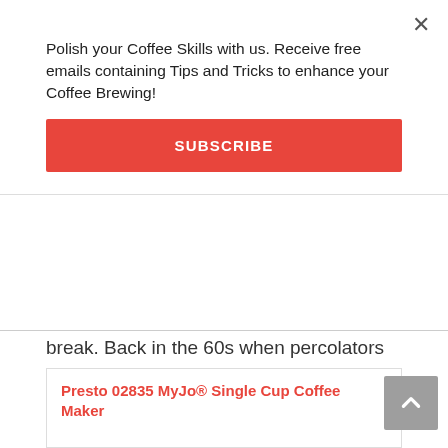Polish your Coffee Skills with us. Receive free emails containing Tips and Tricks to enhance your Coffee Brewing!
SUBSCRIBE
break. Back in the 60s when percolators were standard in most American kitchens, people used to keep a couple of extra glass domes handy. They’re still readily available and inexpensive, so a good option as an outdoor coffee maker.
15. Presto Coffee Maker For Keurig K-Cups
Presto 02835 MyJo® Single Cup Coffee Maker